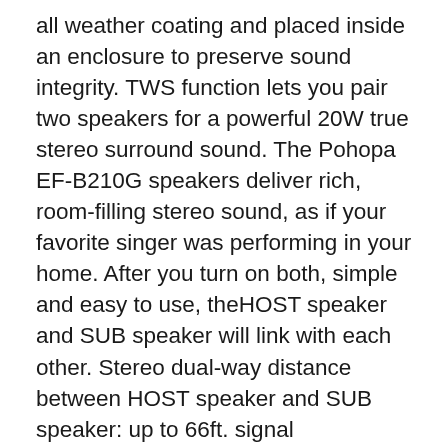all weather coating and placed inside an enclosure to preserve sound integrity. TWS function lets you pair two speakers for a powerful 20W true stereo surround sound. The Pohopa EF-B210G speakers deliver rich, room-filling stereo sound, as if your favorite singer was performing in your home. After you turn on both, simple and easy to use, theHOST speaker and SUB speaker will link with each other. Stereo dual-way distance between HOST speaker and SUB speaker: up to 66ft. signal interference is normal and may shorten the outdoor use distance. It's perfect for pool area, backyard, patio, lawn, garden, camping, etc. 20 piece built-in brightLED lights around light up for night time use. 10W(each unit) is a revolutionary full-bodied stereo that gives nice crisp highs from a big subwoofer, advanced digital sound, noise/wind reduction technology, and unique loudspeaker cavity structure to deliver premium acoustic sound. Stereo pairs allow you to enjoy room-filling sound better than you might think. The Large Calibity battery is large. The unit has a built-in high capacity rechargeable battery that can support up to 12 hours of continuous music playing, or 6 hours at full volume, or 20 hours of continuous music playing. It's ideal as a companion or gift. The worry-free 12-month warranty and friendly customer service make